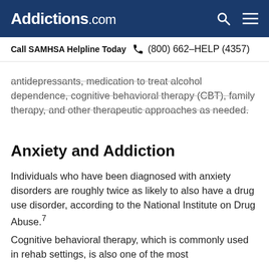Addictions.com
Call SAMHSA Helpline Today  (800) 662-HELP (4357)
antidepressants, medication to treat alcohol dependence, cognitive behavioral therapy (CBT), family therapy, and other therapeutic approaches as needed.
Anxiety and Addiction
Individuals who have been diagnosed with anxiety disorders are roughly twice as likely to also have a drug use disorder, according to the National Institute on Drug Abuse.7
Cognitive behavioral therapy, which is commonly used in rehab settings, is also one of the most effective treatments for anxiety disorders.